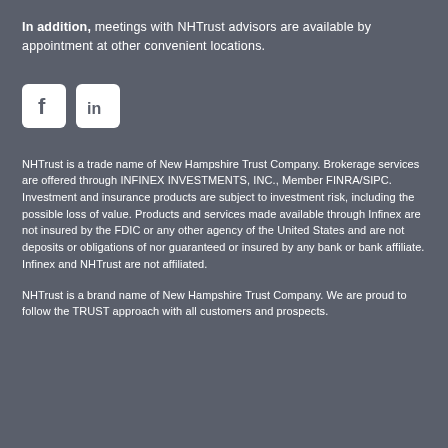In addition, meetings with NHTrust advisors are available by appointment at other convenient locations.
[Figure (logo): Facebook and LinkedIn social media icons (white square icons with rounded corners on white background)]
NHTrust is a trade name of New Hampshire Trust Company. Brokerage services are offered through INFINEX INVESTMENTS, INC., Member FINRA/SIPC. Investment and insurance products are subject to investment risk, including the possible loss of value. Products and services made available through Infinex are not insured by the FDIC or any other agency of the United States and are not deposits or obligations of nor guaranteed or insured by any bank or bank affiliate. Infinex and NHTrust are not affiliated.
NHTrust is a brand name of New Hampshire Trust Company. We are proud to follow the TRUST approach with all customers and prospects.